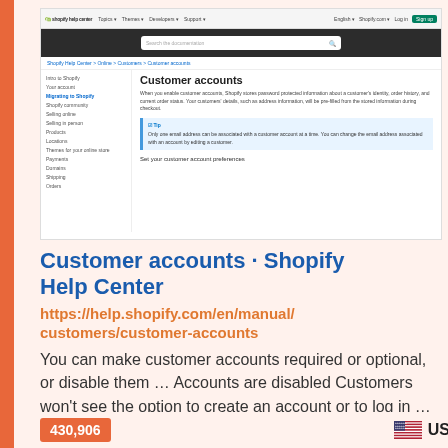[Figure (screenshot): Screenshot of Shopify Help Center page showing 'Customer accounts' documentation page with navigation sidebar, search bar, and tip callout box]
Customer accounts · Shopify Help Center
https://help.shopify.com/en/manual/customers/customer-accounts
You can make customer accounts required or optional, or disable them … Accounts are disabled Customers won't see the option to create an account or to log in …
430,906
US